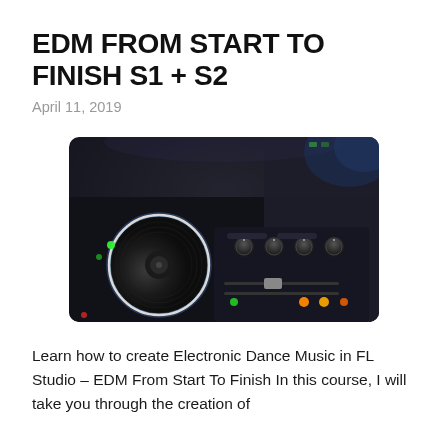EDM FROM START TO FINISH S1 + S2
April 11, 2019
[Figure (photo): Close-up photograph of a DJ controller/turntable setup with colorful glowing buttons including orange, green, and blue LEDs, knobs, faders, and a vinyl platter with white light ring, set against a dark background.]
Learn how to create Electronic Dance Music in FL Studio – EDM From Start To Finish In this course, I will take you through the creation of